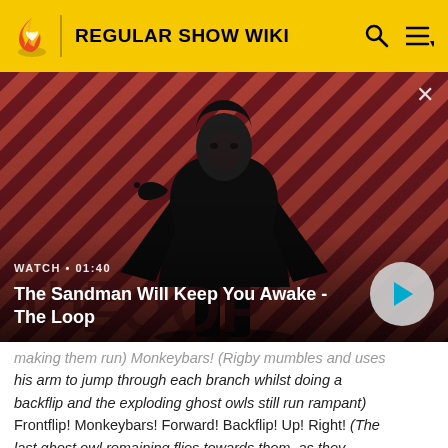REGULAR SHOW WIKI
[Figure (screenshot): Video thumbnail for 'The Sandman Will Keep You Awake - The Loop' showing a dark-clad figure with a raven on striped red/dark background. Shows WATCH • 01:40 label and play button.]
making them run) Monkeybars! (Rigby mumbles and uses his arm to jump through each branch whilst doing a backflip and the exploding ghost owls still run rampant) Frontflip! Monkeybars! Forward! Backflip! Up! Right! (The last ghost owl remaining flies towards them, as they scream) Flip!